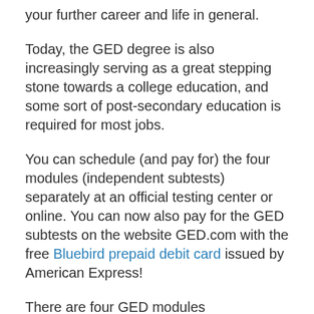your further career and life in general.
Today, the GED degree is also increasingly serving as a great stepping stone towards a college education, and some sort of post-secondary education is required for most jobs.
You can schedule (and pay for) the four modules (independent subtests) separately at an official testing center or online. You can now also pay for the GED subtests on the website GED.com with the free Bluebird prepaid debit card issued by American Express!
There are four GED modules (independent subtests) that cover Social Studies (including